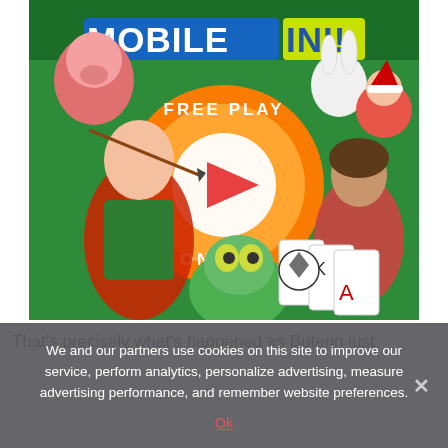[Figure (illustration): Mobile Ini advertisement banner showing cartoon game characters, a large orange circle with FREE PLAY ONLINE text and a play button, on a green background with the MOBILE INI logo at the top.]
That's precisely what's happened as Buterin just
We and our partners use cookies on this site to improve our service, perform analytics, personalize advertising, measure advertising performance, and remember website preferences.
Ok